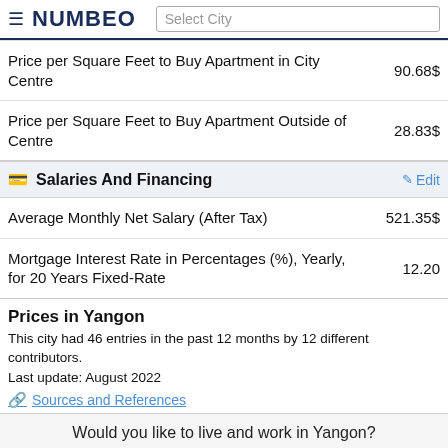NUMBEO — Select City
| Item | Value |
| --- | --- |
| Price per Square Feet to Buy Apartment in City Centre | 90.68$ |
| Price per Square Feet to Buy Apartment Outside of Centre | 28.83$ |
Salaries And Financing
| Item | Value |
| --- | --- |
| Average Monthly Net Salary (After Tax) | 521.35$ |
| Mortgage Interest Rate in Percentages (%), Yearly, for 20 Years Fixed-Rate | 12.20 |
Prices in Yangon
This city had 46 entries in the past 12 months by 12 different contributors.
Last update: August 2022
Sources and References
Would you like to live and work in Yangon?
Find a Remote Job